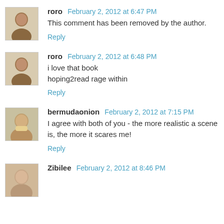roro  February 2, 2012 at 6:47 PM
This comment has been removed by the author.
Reply
roro  February 2, 2012 at 6:48 PM
i love that book
hoping2read rage within
Reply
bermudaonion  February 2, 2012 at 7:15 PM
I agree with both of you - the more realistic a scene is, the more it scares me!
Reply
Zibilee  February 2, 2012 at 8:46 PM